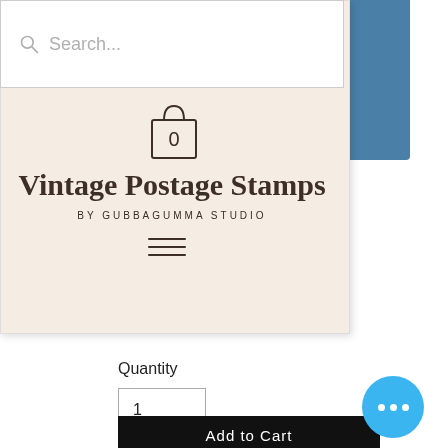[Figure (screenshot): Website screenshot of 'Vintage Postage Stamps by Gubbagumma Studio' showing a search bar, shopping cart icon, brand title, subtitle, and hamburger menu on a beige background, with a blue card partially visible behind.]
Search...
Vintage Postage Stamps
BY GUBBAGUMMA STUDIO
Quantity
1
Add to Cart